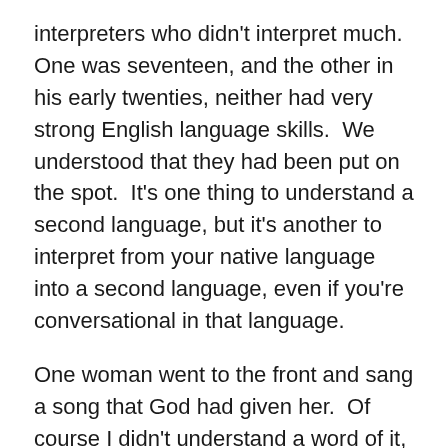interpreters who didn't interpret much.  One was seventeen, and the other in his early twenties, neither had very strong English language skills.  We understood that they had been put on the spot.  It's one thing to understand a second language, but it's another to interpret from your native language into a second language, even if you're conversational in that language.
One woman went to the front and sang a song that God had given her.  Of course I didn't understand a word of it, but the heartfelt emotion came through.  Another woman told about a dream God had given her, and concluded with a song.
The pastor preached about the Triumphal Entry of Jesus into Jerusalem, and since I couldn't understand and the translator couldn't translate, I began to think about what